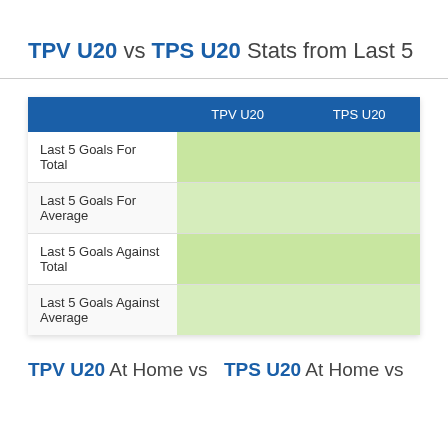TPV U20 vs TPS U20 Stats from Last 5
|  | TPV U20 | TPS U20 |
| --- | --- | --- |
| Last 5 Goals For Total |  |  |
| Last 5 Goals For Average |  |  |
| Last 5 Goals Against Total |  |  |
| Last 5 Goals Against Average |  |  |
TPV U20 At Home vs   TPS U20 At Home vs